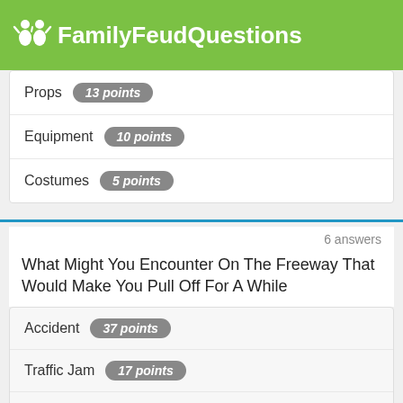FamilyFeudQuestions
Props   13 points
Equipment   10 points
Costumes   5 points
6 answers
What Might You Encounter On The Freeway That Would Make You Pull Off For A While
Accident   37 points
Traffic Jam   17 points
Animal   16 points
Flat Tire   12 points
Rain/Snow   11 points